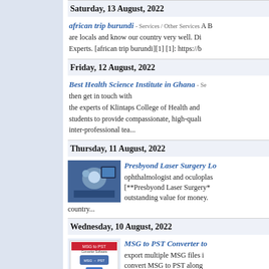Saturday, 13 August, 2022
african trip burundi - Services / Other Services A B... are locals and know our country very well. Di... Experts. [african trip burundi][1] [1]: https://b...
Friday, 12 August, 2022
Best Health Science Institute in Ghana - Se... then get in touch with the experts of Klintaps College of Health and students to provide compassionate, high-quali... inter-professional tea...
Thursday, 11 August, 2022
[Figure (photo): Medical/surgical procedure photo showing ophthalmologist at work]
Presbyond Laser Surgery Lo... ophthalmologist and oculoplas... [**Presbyond Laser Surgery*... outstanding value for money. country...
Wednesday, 10 August, 2022
[Figure (screenshot): MSG to PST Converter software product screenshot]
MSG to PST Converter to... export multiple MSG files i... convert MSG to PST along...